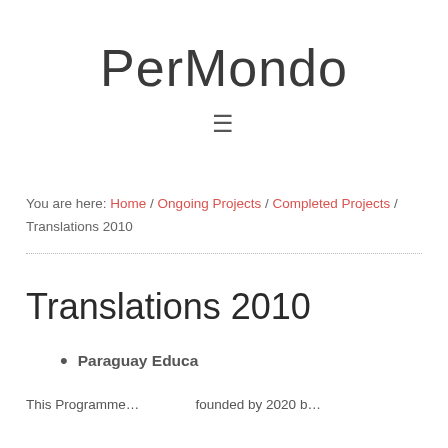PerMondo
You are here: Home / Ongoing Projects / Completed Projects / Translations 2010
Translations 2010
Paraguay Educa
This Programme...founded by 2020 b...